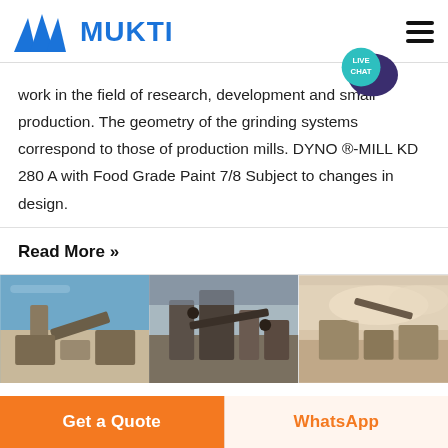MUKTI
work in the field of research, development and small production. The geometry of the grinding systems correspond to those of production mills. DYNO ®-MILL KD 280 A with Food Grade Paint 7/8 Subject to changes in design.
Read More »
[Figure (photo): Three industrial machinery/quarry equipment photos side by side showing conveyor belts and crushing/grinding equipment at outdoor sites]
Get a Quote
WhatsApp